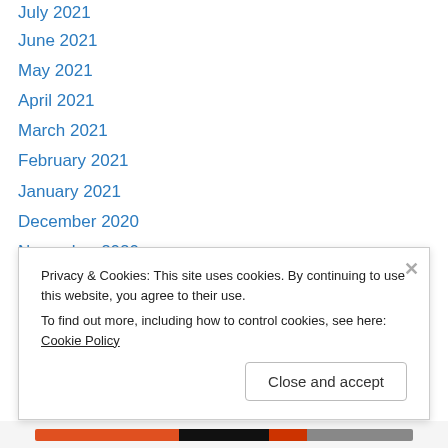July 2021
June 2021
May 2021
April 2021
March 2021
February 2021
January 2021
December 2020
November 2020
October 2020
September 2020
August 2020
July 2020
June 2020
Privacy & Cookies: This site uses cookies. By continuing to use this website, you agree to their use. To find out more, including how to control cookies, see here: Cookie Policy
Close and accept